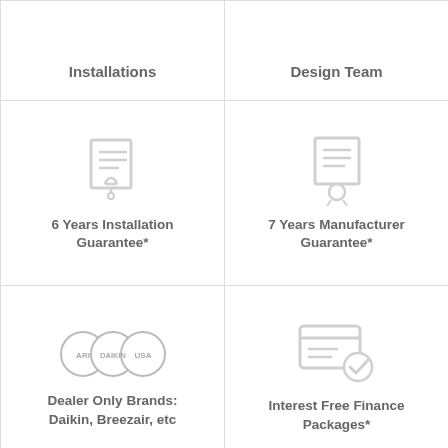[Figure (infographic): Grid cell top-left: partially visible text label 'Installations']
Installations
[Figure (infographic): Grid cell top-right: partially visible text label 'Design Team']
Design Team
[Figure (infographic): Icon: certificate/document with wrench tool below it, gray]
6 Years Installation Guarantee*
[Figure (infographic): Icon: certificate/document with award ribbon below it, gray]
7 Years Manufacturer Guarantee*
[Figure (logo): Daikin ARC dealer logo: three overlapping circles with ARI, DAIKIN, USA text]
Dealer Only Brands: Daikin, Breezair, etc
[Figure (infographic): Icon: credit card with checkmark, gray]
Interest Free Finance Packages*
[Figure (logo): ARC Authorised logo with blue and green geometric checkmark badge and TM symbol]
AUTHORISED